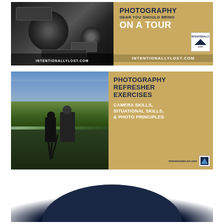[Figure (photo): Advertisement banner: left half shows dark grayscale photo of camera gear/equipment on a surface. Right half has golden/tan background with text 'PHOTOGRAPHY GEAR YOU SHOULD BRING ON A TOUR' and INTENTIONALLYLOST.COM branding with logo.]
[Figure (photo): Advertisement banner: left half shows photo of two photographers with a camera on tripod overlooking a hillside blue city (Chefchaouen). Right half has golden/tan background with text 'PHOTOGRAPHY REFRESHER EXERCISES' and subtitle 'CAMERA SKILLS, SITUATIONAL SKILLS, & PHOTO PRINCIPLES' with IntentionallyLost.com logo.]
[Figure (photo): Partial bottom image showing what appears to be a dark navy/blue rounded object (possibly a hat or book cover) against a white background, cropped at the bottom of the page.]